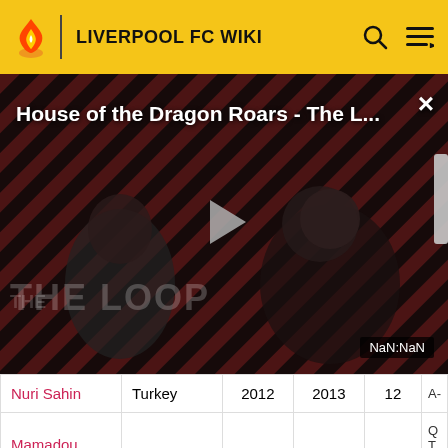LIVERPOOL FC WIKI
[Figure (screenshot): Video player banner showing 'House of the Dragon Roars - The L...' with a play button, diagonal stripe background in dark red/black, two figures visible, 'THE LOOP' text at bottom left, NaN:NaN timestamp, and close (×) button.]
|  | Country | From | To | Apps |  |
| --- | --- | --- | --- | --- | --- |
| Nuri Sahin | Turkey | 2012 | 2013 | 12 | A- |
| Mamadou Sakho | France | 2013 | 2017 | 80 | Q
T
W
Z |
| Mohamed Salah | Egypt | 2017 | * | * |  |